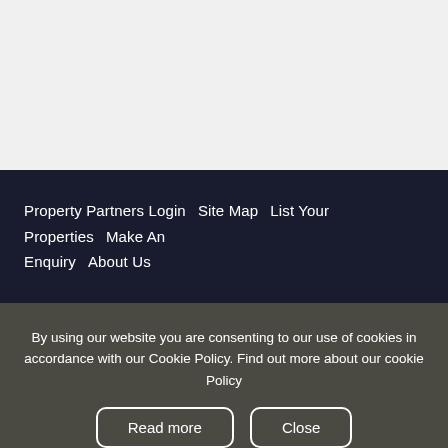Property Partners Login   Site Map   List Your Properties   Make An Enquiry   About Us
By using our website you are consenting to our use of cookies in accordance with our Cookie Policy. Find out more about our cookie Policy
Read more   Close